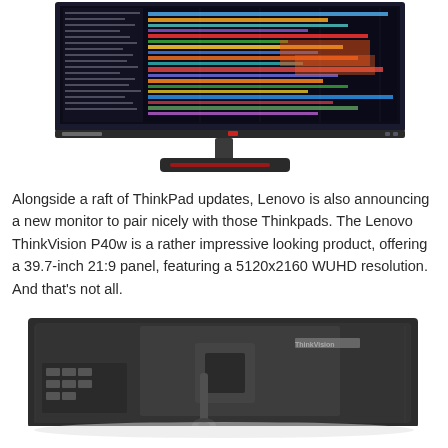[Figure (photo): Lenovo ThinkVision P40w monitor shown from the front-left angle on a white background, displaying a colorful horizontal bar chart on screen, with a black stand and base.]
Alongside a raft of ThinkPad updates, Lenovo is also announcing a new monitor to pair nicely with those Thinkpads. The Lenovo ThinkVision P40w is a rather impressive looking product, offering a 39.7-inch 21:9 panel, featuring a 5120x2160 WUHD resolution. And that’s not all.
[Figure (photo): Lenovo ThinkVision P40w monitor shown from the rear, revealing the back panel with ThinkVision branding, cable management arm, and height-adjustable stand.]